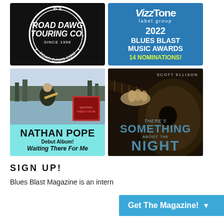[Figure (logo): Road Dawg Touring Co. circular logo, black background with white text, since 1998, road-dawg.com]
[Figure (advertisement): VizzTone label group blue ad: 2022 Blues Blast Music Awards 14 Nominations!]
[Figure (advertisement): Nathan Pope - Debut Album! Waiting There For Me, teal background with guitarist photo]
[Figure (advertisement): Scott Ellison - There's Something About The Night, dark guitar close-up photo]
SIGN UP!
Blues Blast Magazine is an intern
[Figure (other): Get The Magazine! CTA button in blue with dropdown arrow]